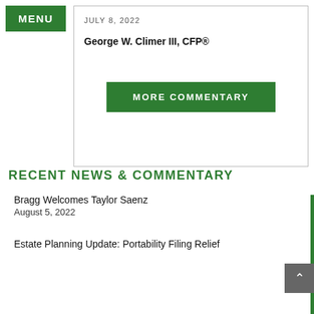MENU
JULY 8, 2022
George W. Climer III, CFP®
MORE COMMENTARY
RECENT NEWS & COMMENTARY
Bragg Welcomes Taylor Saenz
August 5, 2022
Estate Planning Update: Portability Filing Relief